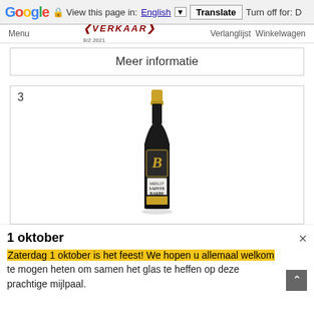Google | View this page in: English | Translate | Turn off for: D
Menu | VERKAAR | Verlanglijst | Winkelwagen
Meer informatie
[Figure (photo): A bottle of red wine labeled 'Merlot Sainte Barbe' with gold foil capsule and decorative B monogram label, on white background. Item number 3.]
1 oktober
Zaterdag 1 oktober is het feest! We hopen u allemaal welkom te mogen heten om samen het glas te heffen op deze prachtige mijlpaal.